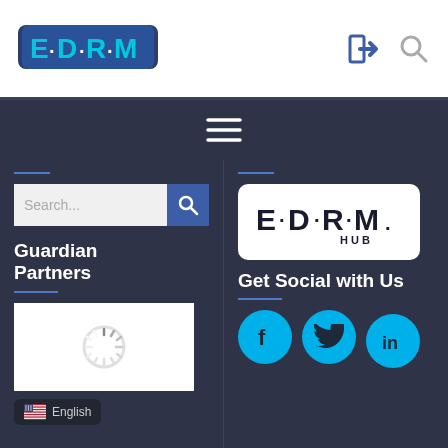[Figure (logo): EDRM logo in header - teal/dark background with E·D·R·M text]
[Figure (screenshot): Navigation burger menu icon (three horizontal lines) on dark background]
[Figure (screenshot): Search box with placeholder 'Search...' and blue search button]
Guardian Partners
[Figure (screenshot): White loading spinner image placeholder box]
[Figure (screenshot): English language button with US flag icon]
[Figure (logo): EDRM HUB logo in white rounded rectangle]
Get Social with Us
[Figure (screenshot): Social media icons: Facebook, Twitter, LinkedIn in cyan circles]